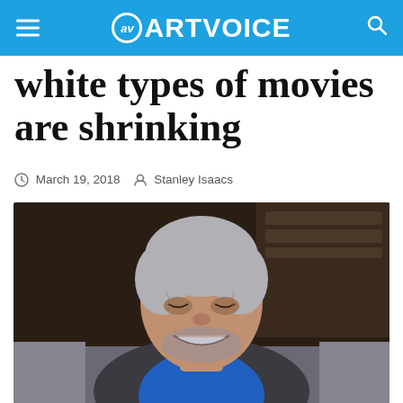ARTVOICE
white types of movies are shrinking
March 19, 2018  Stanley Isaacs
[Figure (photo): A smiling older man with short gray hair and a gray beard, wearing a blue shirt and dark jacket, seated on a couch, in an interview setting.]